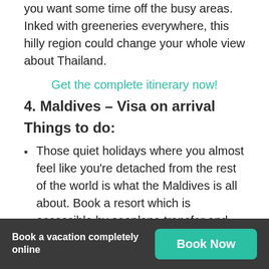you want some time off the busy areas. Inked with greeneries everywhere, this hilly region could change your whole view about Thailand.
Get the complete itinerary now!
4. Maldives – Visa on arrival
Things to do:
Those quiet holidays where you almost feel like you're detached from the rest of the world is what the Maldives is all about. Book a resort which is accessible by seaplane transfer and
Book a vacation completely online | Book Now